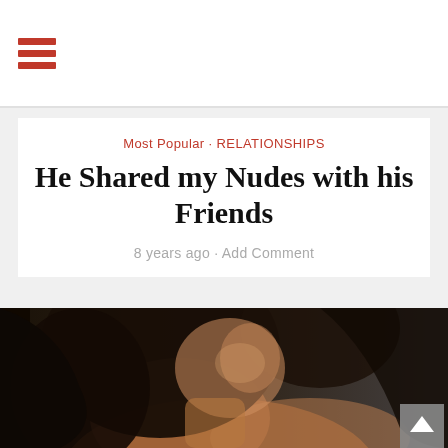hamburger menu icon
Most Popular · RELATIONSHIPS
He Shared my Nudes with his Friends
8 years ago · Add Comment
[Figure (photo): Close-up photograph of a person with long dark curly hair, head tilted back, wet skin, with a tattoo visible on the shoulder, dark background]